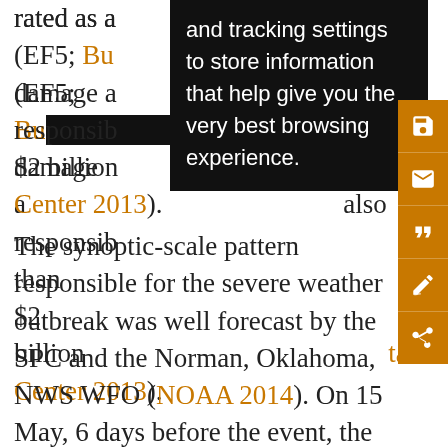rated as a [scale] (EF5; Bu[rlington] damage a[nd] s also responsible [for more] than $2 billion [in damage (National Climate Data Center 2013]).
The synoptic-scale pattern responsible for the severe weather outbreak was well forecast by the SPC and the Norman, Oklahoma, NWS WFO (NOAA 2014). On 15 May, 6 days before the event, the SPC noted that 20 May had the highest tornado potential of the expected multiday severe weather outbreak and the Norman WFO hazardous weather outlook was highlighting the threat of severe weather and potentially strong tornadoes on 19–21 May. At 1200 UTC 20 May 2013, the synoptic-scale environment (not shown) across Oklahoma and the